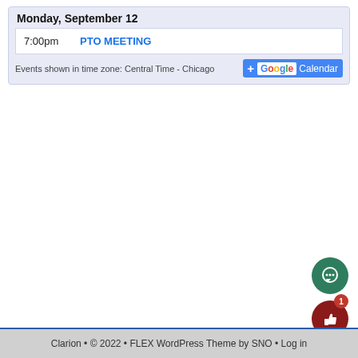Monday, September 12
| Time | Event |
| --- | --- |
| 7:00pm | PTO MEETING |
Events shown in time zone: Central Time - Chicago
[Figure (logo): + Google Calendar button]
[Figure (illustration): Green circle comment/chat icon button]
[Figure (illustration): Dark red circle thumbs-up like button with badge showing 1]
Clarion • © 2022 • FLEX WordPress Theme by SNO • Log in